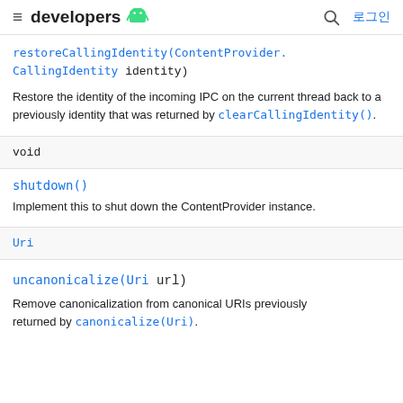≡ developers 🤖  🔍 로그인
restoreCallingIdentity(ContentProvider.CallingIdentity identity)
Restore the identity of the incoming IPC on the current thread back to a previously identity that was returned by clearCallingIdentity().
void
shutdown()
Implement this to shut down the ContentProvider instance.
Uri
uncanonicalize(Uri url)
Remove canonicalization from canonical URIs previously returned by canonicalize(Uri).